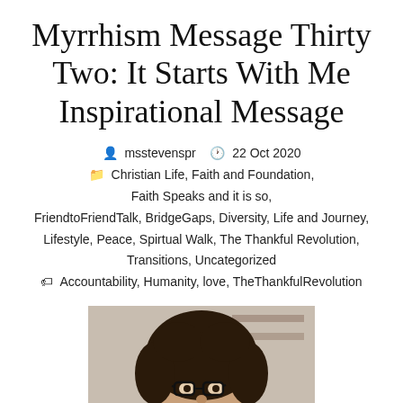Myrrhism Message Thirty Two: It Starts With Me Inspirational Message
msstevenspr   22 Oct 2020
Christian Life, Faith and Foundation, Faith Speaks and it is so, FriendtoFriendTalk, BridgeGaps, Diversity, Life and Journey, Lifestyle, Peace, Spirtual Walk, The Thankful Revolution, Transitions, Uncategorized
Accountability, Humanity, love, TheThankfulRevolution
[Figure (photo): Portrait photo of a person with curly hair and glasses, cropped showing head and shoulders, partial view at bottom of page]